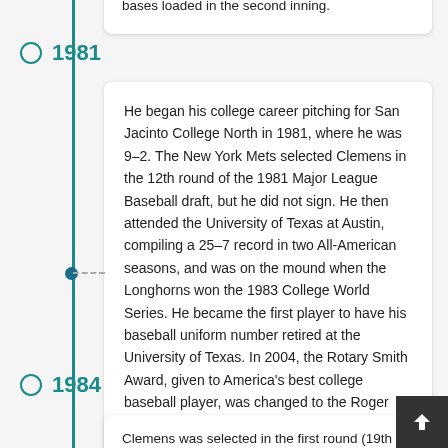bases loaded in the second inning.
1981
He began his college career pitching for San Jacinto College North in 1981, where he was 9–2. The New York Mets selected Clemens in the 12th round of the 1981 Major League Baseball draft, but he did not sign. He then attended the University of Texas at Austin, compiling a 25–7 record in two All-American seasons, and was on the mound when the Longhorns won the 1983 College World Series. He became the first player to have his baseball uniform number retired at the University of Texas. In 2004, the Rotary Smith Award, given to America's best college baseball player, was changed to the Roger Clemens Award, honoring the best pitcher.
1984
Clemens was selected in the first round (19th